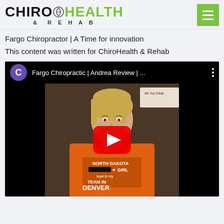[Figure (logo): ChiroHealth & Rehab logo with green hamburger menu button]
Fargo Chiropractor | A Time for innovation
This content was written for ChiroHealth & Rehab
[Figure (screenshot): YouTube video embed showing a woman in an orange North Dakota Girl / Team in Denver shirt sitting in front of a brown background. Video title: Fargo Chiropractic | Andrea Review | ... with a purple channel avatar showing the letter C, three vertical dots menu, and a red YouTube play button overlay in the center.]